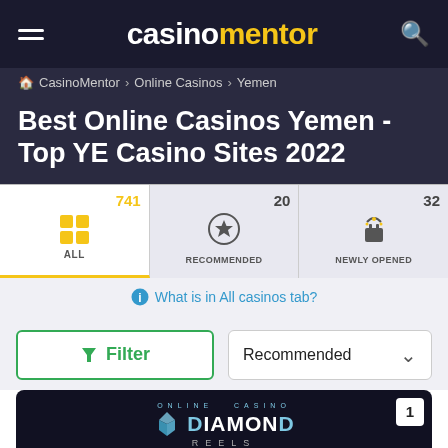casinomentor
CasinoMentor > Online Casinos > Yemen
Best Online Casinos Yemen - Top YE Casino Sites 2022
[Figure (screenshot): Tab bar showing ALL (741), RECOMMENDED (20), NEWLY OPENED (32) categories]
What is in All casinos tab?
Filter   Recommended
[Figure (logo): Diamond Reels Online Casino logo with diamond icon, numbered 1]